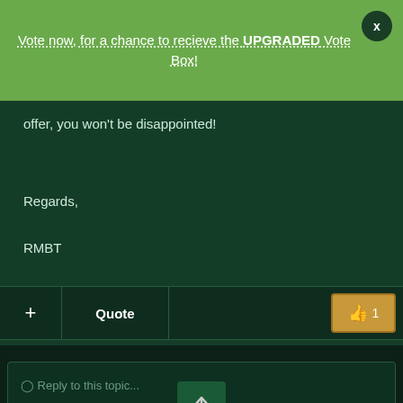Vote now, for a chance to recieve the UPGRADED Vote Box!
offer, you won't be disappointed!
Regards,
RMBT
+ Quote 👍 1
Join the conversation
You can post now and register later. If you have an account, sign in now to post with your account.
Reply to this topic...